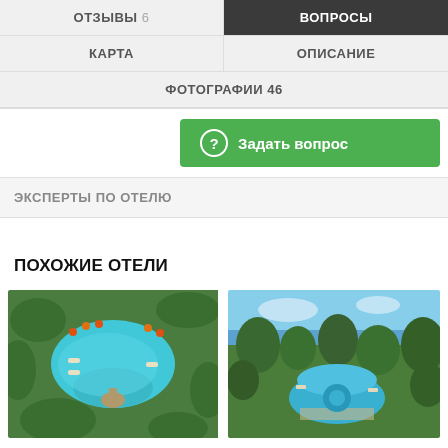ОТЗЫВЫ 6 | ВОПРОСЫ | КАРТА | ОПИСАНИЕ | ФОТОГРАФИИ 46
Задать вопрос
ЭКСПЕРТЫ ПО ОТЕЛЮ
ПОХОЖИЕ ОТЕЛИ
[Figure (photo): Aerial view of a hotel pool surrounded by lush tropical greenery and orange umbrellas]
[Figure (photo): Aerial view of a hotel with a blue pool surrounded by palm trees and ocean in background]